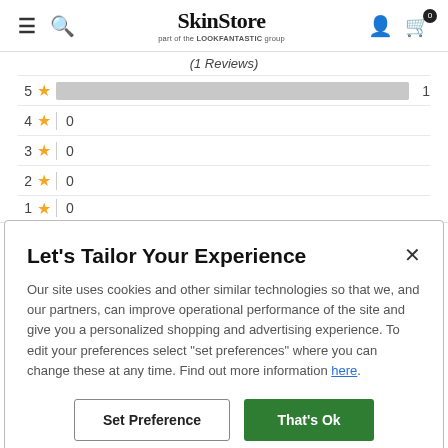SkinStore part of the LOOKFANTASTIC group
(1 Reviews)
[Figure (infographic): Star rating breakdown: 5 stars = 1, 4 stars = 0, 3 stars = 0, 2 stars = 0, 1 star = 0]
Let's Tailor Your Experience
Our site uses cookies and other similar technologies so that we, and our partners, can improve operational performance of the site and give you a personalized shopping and advertising experience. To edit your preferences select "set preferences" where you can change these at any time. Find out more information here.
Set Preference   That's Ok